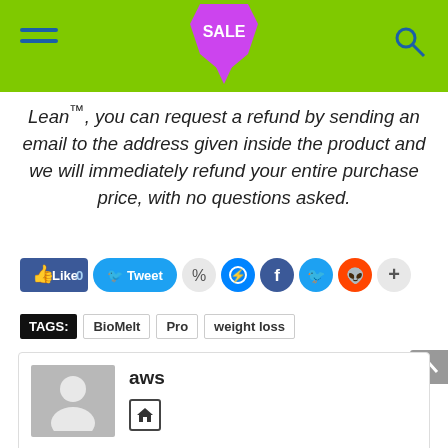SALE (header with hamburger menu and search icon)
Lean™, you can request a refund by sending an email to the address given inside the product and we will immediately refund your entire purchase price, with no questions asked.
[Figure (infographic): Social share buttons: Like 0, Tweet, and various social media icons]
TAGS: BioMelt Pro weight loss
[Figure (infographic): Author card showing avatar placeholder, name 'aws', and a home icon]